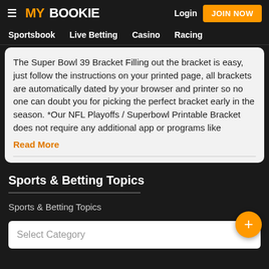MY BOOKIE | Login | JOIN NOW
Sportsbook  Live Betting  Casino  Racing
The Super Bowl 39 Bracket Filling out the bracket is easy, just follow the instructions on your printed page, all brackets are automatically dated by your browser and printer so no one can doubt you for picking the perfect bracket early in the season. *Our NFL Playoffs / Superbowl Printable Bracket does not require any additional app or programs like
Read More
Sports & Betting Topics
Sports & Betting Topics
Select Category